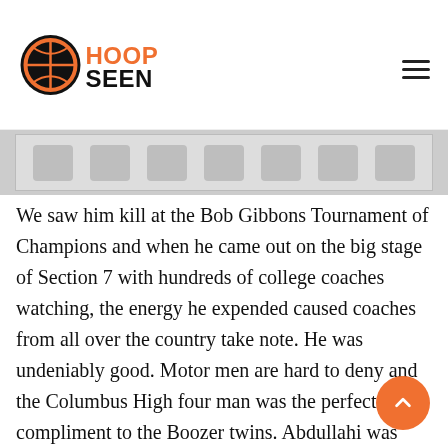HoopSeen
[Figure (photo): Cropped photo strip showing basketball players or event imagery, partially visible at top of content area]
We saw him kill at the Bob Gibbons Tournament of Champions and when he came out on the big stage of Section 7 with hundreds of college coaches watching, the energy he expended caused coaches from all over the country take note. He was undeniably good. Motor men are hard to deny and the Columbus High four man was the perfect compliment to the Boozer twins. Abdullahi was automatic for interior scores, rebounds and putbacks. Don't be surprised to see his recruitment have a strong West Coast flair now.